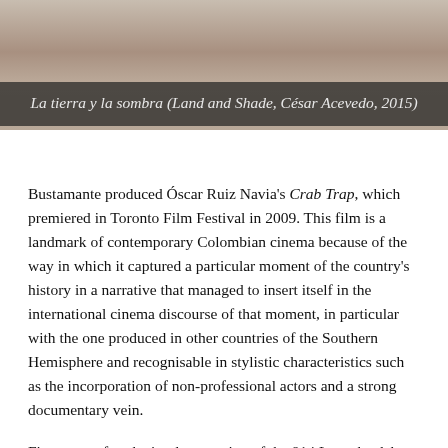[Figure (photo): Film still from La tierra y la sombra (Land and Shade), showing an outdoor dirt/ground scene]
La tierra y la sombra (Land and Shade, César Acevedo, 2015)
Bustamante produced Óscar Ruiz Navia's Crab Trap, which premiered in Toronto Film Festival in 2009. This film is a landmark of contemporary Colombian cinema because of the way in which it captured a particular moment of the country's history in a narrative that managed to insert itself in the international cinema discourse of that moment, in particular with the one produced in other countries of the Southern Hemisphere and recognisable in stylistic characteristics such as the incorporation of non-professional actors and a strong documentary vein.
Five years after the implementation of the 814 Law, the debut of Ruiz Navia indicated, just like The Wandering Shadow did years before, a road towards what can be called a 'new Colombian cinema'. The paradox of this novelty is that, at the same time, it updates the questionings and answers present